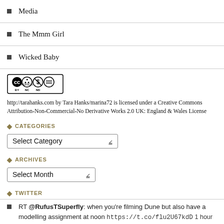Media
The Mmm Girl
Wicked Baby
[Figure (logo): Creative Commons Attribution-Non-Commercial-No Derivative Works logo badge (CC BY NC ND)]
http://tarahanks.com by Tara Hanks/marina72 is licensed under a Creative Commons Attribution-Non-Commercial-No Derivative Works 2.0 UK: England & Wales License
CATEGORIES
Select Category
ARCHIVES
Select Month
TWITTER
RT @RufusTSuperfly: when you're filming Dune but also have a modelling assignment at noon https://t.co/flu2U67kdD 1 hour ago
RT @britcultarchive: Newport, 1977 by Tish Murtha. We're pleased to release a selection of Tish Murtha edition prints from her earliest se… 4 h…